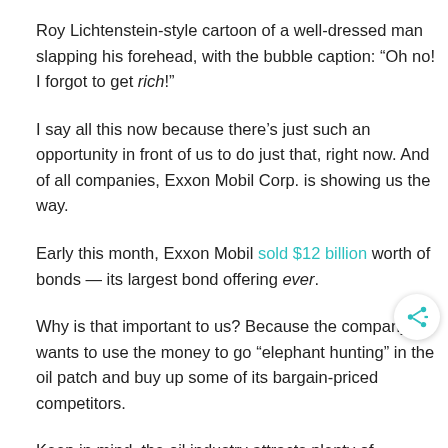Roy Lichtenstein-style cartoon of a well-dressed man slapping his forehead, with the bubble caption: “Oh no! I forgot to get rich!”
I say all this now because there’s just such an opportunity in front of us to do just that, right now. And of all companies, Exxon Mobil Corp. is showing us the way.
Early this month, Exxon Mobil sold $12 billion worth of bonds — its largest bond offering ever.
Why is that important to us? Because the company wants to use the money to go “elephant hunting” in the oil patch and buy up some of its bargain-priced competitors.
Keep in mind, the oil industry attracts plenty of swashbuckling bottom-calling behavior. Sometimes those calls work out (think